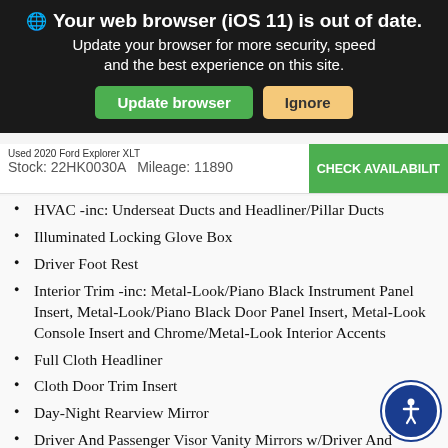Your web browser (iOS 11) is out of date. Update your browser for more security, speed and the best experience on this site.
Update browser  Ignore
Used 2020 Ford Explorer XLT
Stock: 22HK0030A   Mileage: 11890
CHECK AVAILABILITY
HVAC -inc: Underseat Ducts and Headliner/Pillar Ducts
Illuminated Locking Glove Box
Driver Foot Rest
Interior Trim -inc: Metal-Look/Piano Black Instrument Panel Insert, Metal-Look/Piano Black Door Panel Insert, Metal-Look Console Insert and Chrome/Metal-Look Interior Accents
Full Cloth Headliner
Cloth Door Trim Insert
Day-Night Rearview Mirror
Driver And Passenger Visor Vanity Mirrors w/Driver And Passenger Illumination, Driver And Passenger Auxiliary Mirror